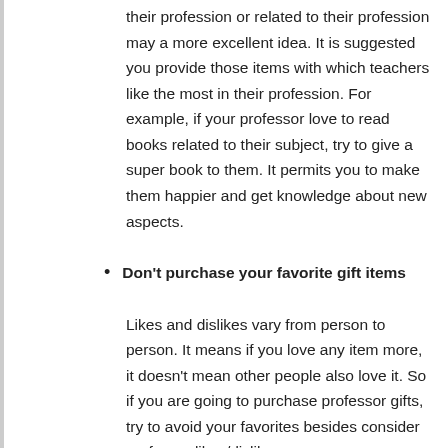their profession or related to their profession may a more excellent idea. It is suggested you provide those items with which teachers like the most in their profession. For example, if your professor love to read books related to their subject, try to give a super book to them. It permits you to make them happier and get knowledge about new aspects.
Don't purchase your favorite gift items
Likes and dislikes vary from person to person. It means if you love any item more, it doesn't mean other people also love it. So if you are going to purchase professor gifts, try to avoid your favorites besides consider professor likes/dislikes.